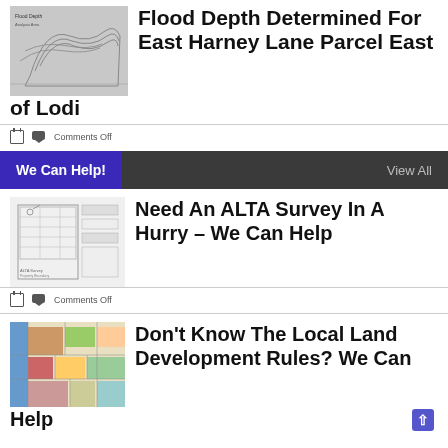[Figure (map): Flood depth map showing East Harney Lane parcel area near Lodi with topographic contour lines]
Flood Depth Determined For East Harney Lane Parcel East of Lodi
Comments Off
We Can Help!   View All
[Figure (engineering-diagram): ALTA survey document showing a property plot plan with survey details]
Need An ALTA Survey In A Hurry – We Can Help
Comments Off
[Figure (map): Colorful local land use/zoning map showing parcels in various colors]
Don't Know The Local Land Development Rules? We Can Help